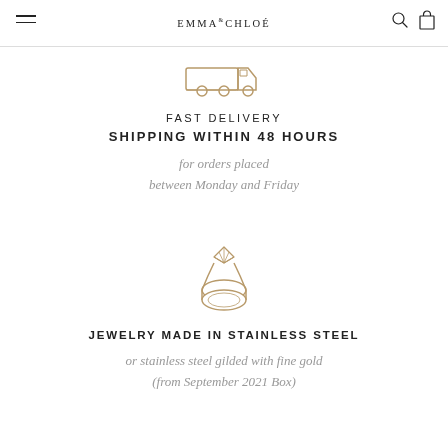EMMA & CHLOÉ
[Figure (illustration): Line icon of a delivery truck in tan/gold color]
FAST DELIVERY
SHIPPING WITHIN 48 HOURS
for orders placed between Monday and Friday
[Figure (illustration): Line icon of a diamond ring in tan/gold color]
JEWELRY MADE IN STAINLESS STEEL
or stainless steel gilded with fine gold (from September 2021 Box)